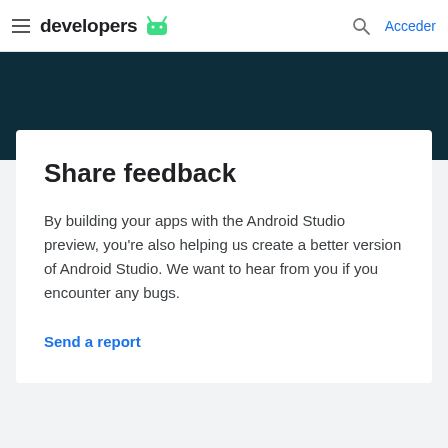developers  Acceder
[Figure (illustration): Dark teal/navy banner strip below navigation bar]
Share feedback
By building your apps with the Android Studio preview, you're also helping us create a better version of Android Studio. We want to hear from you if you encounter any bugs.
Send a report